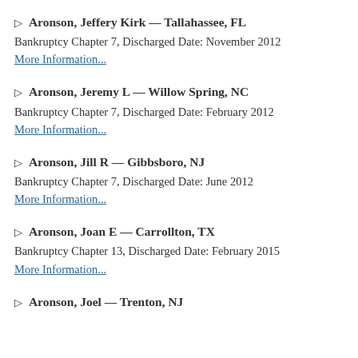▷ Aronson, Jeffery Kirk — Tallahassee, FL
Bankruptcy Chapter 7, Discharged Date: November 2012
More Information...
▷ Aronson, Jeremy L — Willow Spring, NC
Bankruptcy Chapter 7, Discharged Date: February 2012
More Information...
▷ Aronson, Jill R — Gibbsboro, NJ
Bankruptcy Chapter 7, Discharged Date: June 2012
More Information...
▷ Aronson, Joan E — Carrollton, TX
Bankruptcy Chapter 13, Discharged Date: February 2015
More Information...
▷ Aronson, Joel — Trenton, NJ